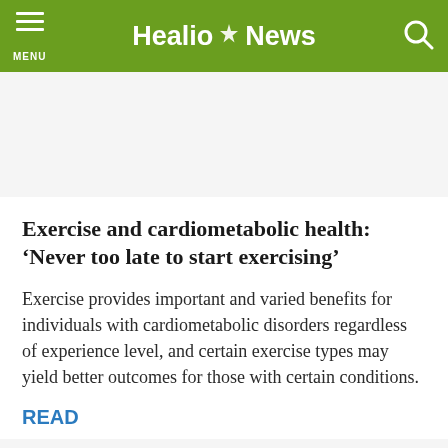Healio News
Exercise and cardiometabolic health: ‘Never too late to start exercising’
Exercise provides important and varied benefits for individuals with cardiometabolic disorders regardless of experience level, and certain exercise types may yield better outcomes for those with certain conditions.
READ